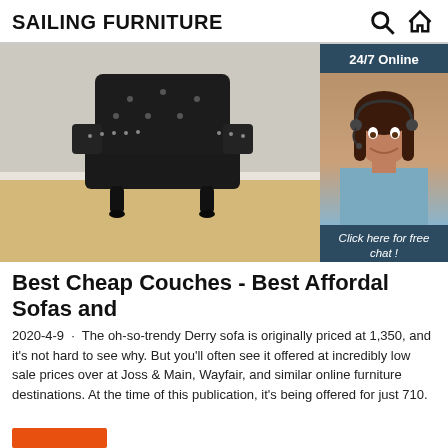SAILING FURNITURE
[Figure (photo): Black leather tufted armchair on light wood floor, with headset-wearing customer service woman and 24/7 Online chat widget overlay]
Best Cheap Couches - Best Afforda Sofas and
2020-4-9 · The oh-so-trendy Derry sofa is originally priced at 1,350, and it's not hard to see why. But you'll often see it offered at incredibly low sale prices over at Joss & Main, Wayfair, and similar online furniture destinations. At the time of this publication, it's being offered for just 710.